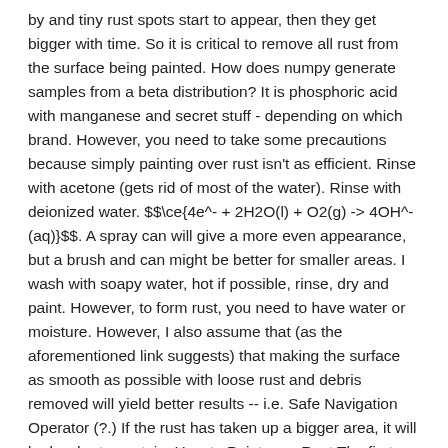by and tiny rust spots start to appear, then they get bigger with time. So it is critical to remove all rust from the surface being painted. How does numpy generate samples from a beta distribution? It is phosphoric acid with manganese and secret stuff - depending on which brand. However, you need to take some precautions because simply painting over rust isn't as efficient. Rinse with acetone (gets rid of most of the water). Rinse with deionized water. $$\ce{4e^- + 2H2O(l) + O2(g) -> 4OH^-(aq)}$$. A spray can will give a more even appearance, but a brush and can might be better for smaller areas. I wash with soapy water, hot if possible, rinse, dry and paint. However, to form rust, you need to have water or moisture. However, I also assume that (as the aforementioned link suggests) that making the surface as smooth as possible with loose rust and debris removed will yield better results -- i.e. Safe Navigation Operator (?.) If the rust has taken up a bigger area, it will be harder to contain. How to Paint over Rust The first step in dealing with exterior rust is to clean it as thoroughly as possible. Does it matter if all of the rust is removed before the But you need to consider the extent of the corrosion and choose a paint that will provide enough coverage to prevent future rust. Additionally, the topcoat may not provide the right level of sealing, as even microscopic pores can lead to rust … So the process that allows the rust formation to continue even after paint has been applied over the rust is basically that